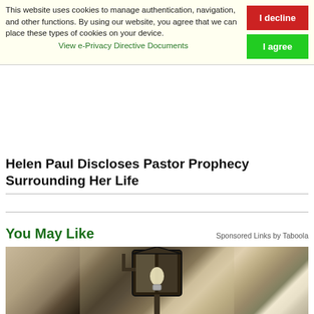This website uses cookies to manage authentication, navigation, and other functions. By using our website, you agree that we can place these types of cookies on your device.
View e-Privacy Directive Documents
Helen Paul Discloses Pastor Prophecy Surrounding Her Life
You May Like
Sponsored Links by Taboola
[Figure (photo): Outdoor lantern light fixture mounted on a textured stone wall, with a visible light bulb inside the dark metal lantern housing]